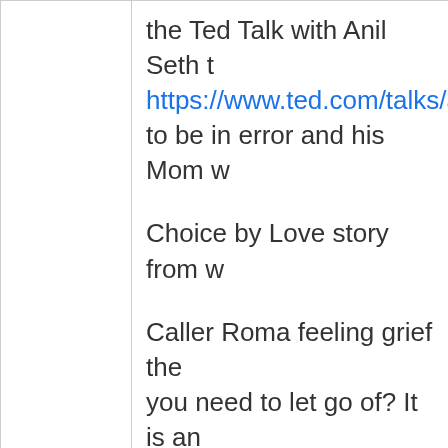|  | the Ted Talk with Anil Seth t… https://www.ted.com/talks/a… to be in error and his Mom w…

Choice by Love story from w…

Caller Roma feeling grief the… you need to let go of? It is an… violence. michael invited her… in me about violence and th… |
|  | Dr Tim talks to Yolanda.  Soc… Pierre Pradervand who wrot… |